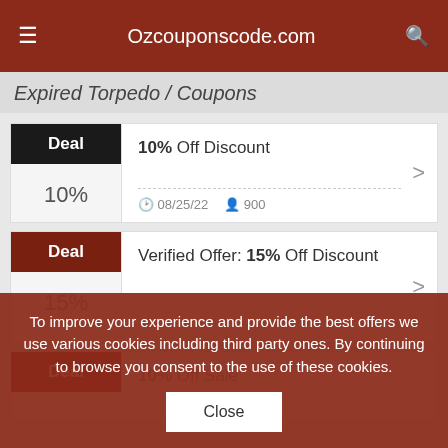Ozcouponscode.com
Expired Torpedo / Coupons
10% Off Discount — Deal, 10%, 08/25/22, 900
Verified Offer: 15% Off Discount — Deal, 15%
10% Off Sale — Deal
To improve your experience and provide the best offers we use various cookies including third party ones. By continuing to browse you consent to the use of these cookies.